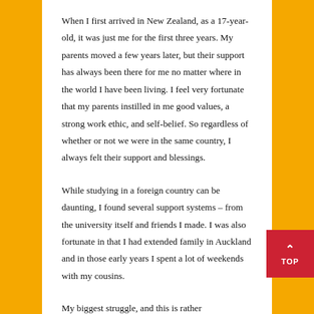When I first arrived in New Zealand, as a 17-year-old, it was just me for the first three years. My parents moved a few years later, but their support has always been there for me no matter where in the world I have been living. I feel very fortunate that my parents instilled in me good values, a strong work ethic, and self-belief. So regardless of whether or not we were in the same country, I always felt their support and blessings.
While studying in a foreign country can be daunting, I found several support systems – from the university itself and friends I made. I was also fortunate in that I had extended family in Auckland and in those early years I spent a lot of weekends with my cousins.
My biggest struggle, and this is rather embarrassing to admit, that I didn't know how to cook at all, and I was living in student accommodation which required self-catering. I would get my mother